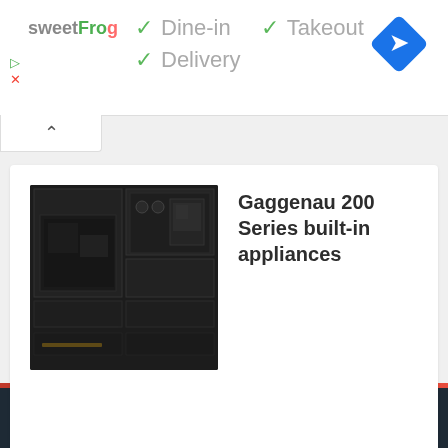[Figure (screenshot): Google Maps / restaurant info ad banner showing sweetFrog logo, Dine-in, Takeout, Delivery options with checkmarks, and a blue navigation diamond icon]
Dine-in  ✓  Takeout
✓  Delivery
[Figure (photo): Gaggenau 200 Series built-in appliances - dark matte black built-in kitchen appliances including oven and coffee machine]
Gaggenau 200 Series built-in appliances
Proudly powered by Tuto WordPress theme from MH Themes